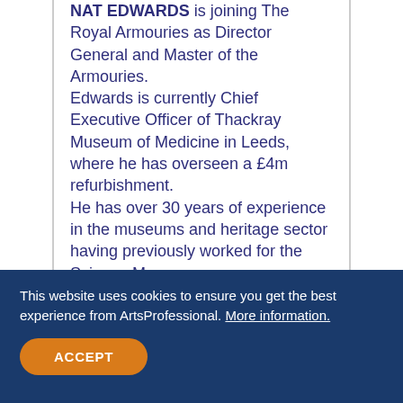NAT EDWARDS is joining The Royal Armouries as Director General and Master of the Armouries. Edwards is currently Chief Executive Officer of Thackray Museum of Medicine in Leeds, where he has overseen a £4m refurbishment. He has over 30 years of experience in the museums and heritage sector having previously worked for the Science Museum
This website uses cookies to ensure you get the best experience from ArtsProfessional. More information. ACCEPT